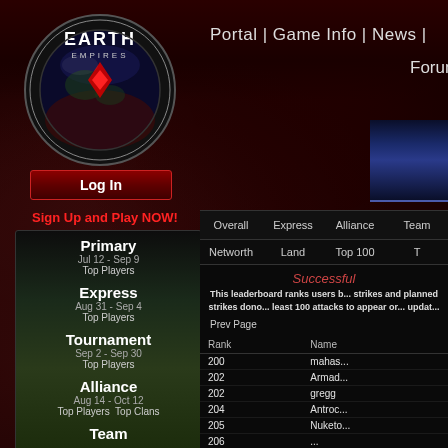[Figure (logo): Earth Empires logo with circular globe and chevron design]
Portal | Game Info | News | Forums | Wiki | Chat | Blog
Log In
Sign Up and Play NOW!
Primary
Jul 12 - Sep 9
Top Players
Express
Aug 31 - Sep 4
Top Players
Tournament
Sep 2 - Sep 30
Top Players
Alliance
Aug 14 - Oct 12
Top Players  Top Clans
Team
Overall   Express   Alliance   Team
Networth   Land   Top 100   T
Successful
This leaderboard ranks users b... strikes and planned strikes dono... least 100 attacks to appear or... updat...
Prev Page
| Rank | Name |
| --- | --- |
| 200 | mahas... |
| 202 | Armad... |
| 202 | gregg |
| 204 | Antroc... |
| 205 | Nuketo... |
| 206 | ... |